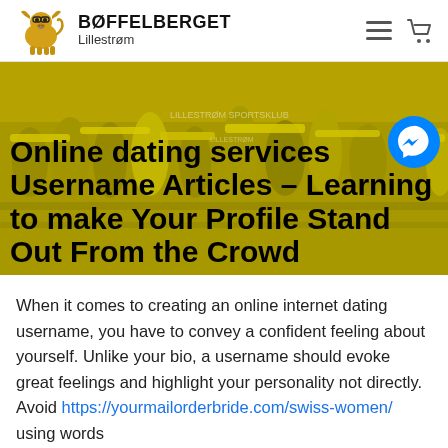BØFFELBERGET Lillestrøm
[Figure (illustration): Yellow cartoon bull logo for Bøffelberget Lillestrøm]
Online dating services Username Articles – Learning to make Your Profile Stand Out From the Crowd
[Figure (photo): Crowd of sports fans at Lillestrøm Sportsklub, waving yellow scarves and banners in a yellow-tinted hero banner]
When it comes to creating an online internet dating username, you have to convey a confident feeling about yourself. Unlike your bio, a username should evoke great feelings and highlight your personality not directly. Avoid https://yourmailorderbride.com/swiss-women/ using words